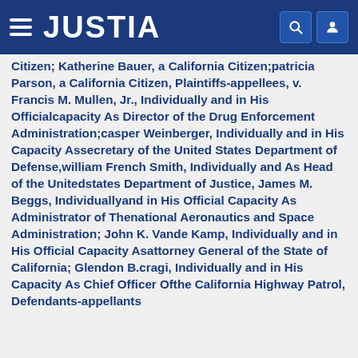JUSTIA
Citizen; Katherine Bauer, a California Citizen;patricia Parson, a California Citizen, Plaintiffs-appellees, v. Francis M. Mullen, Jr., Individually and in His Officialcapacity As Director of the Drug Enforcement Administration;casper Weinberger, Individually and in His Capacity Assecretary of the United States Department of Defense,william French Smith, Individually and As Head of the Unitedstates Department of Justice, James M. Beggs, Individuallyand in His Official Capacity As Administrator of Thenational Aeronautics and Space Administration; John K. Vande Kamp, Individually and in His Official Capacity Asattorney General of the State of California; Glendon B.cragi, Individually and in His Capacity As Chief Officer Ofthe California Highway Patrol, Defendants-appellants